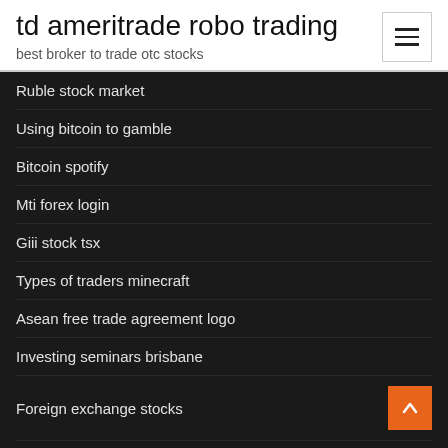td ameritrade robo trading
best broker to trade otc stocks
Ruble stock market
Using bitcoin to gamble
Bitcoin spotify
Mti forex login
Giii stock tsx
Types of traders minecraft
Asean free trade agreement logo
Investing seminars brisbane
Foreign exchange stocks
Rd trading ltd